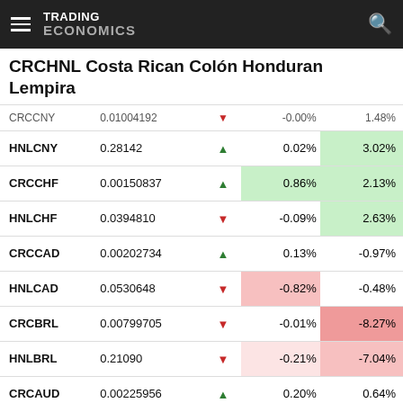TRADING ECONOMICS
CRCHNL Costa Rican Colón Honduran Lempira
| Ticker | Value |  | Day% | Year% |
| --- | --- | --- | --- | --- |
| CRCCNY | 0.01004192 | ▼ | -0.00% | 1.48% |
| HNLCNY | 0.28142 | ▲ | 0.02% | 3.02% |
| CRCCHF | 0.00150837 | ▲ | 0.86% | 2.13% |
| HNLCHF | 0.0394810 | ▼ | -0.09% | 2.63% |
| CRCCAD | 0.00202734 | ▲ | 0.13% | -0.97% |
| HNLCAD | 0.0530648 | ▼ | -0.82% | -0.48% |
| CRCBRL | 0.00799705 | ▼ | -0.01% | -8.27% |
| HNLBRL | 0.21090 | ▼ | -0.21% | -7.04% |
| CRCAUD | 0.00225956 | ▲ | 0.20% | 0.64% |
| CRCEUR | 0.00156976 | ▲ | 0.59% | 13.88% |